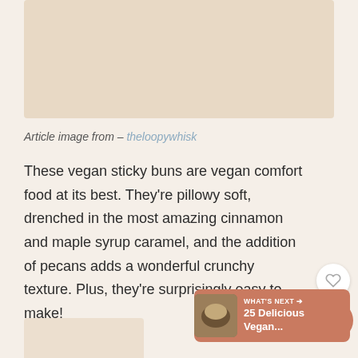[Figure (photo): Article image placeholder with beige/tan background]
Article image from – theloopywhisk
These vegan sticky buns are vegan comfort food at its best. They're pillowy soft, drenched in the most amazing cinnamon and maple syrup caramel, and the addition of pecans adds a wonderful crunchy texture. Plus, they're surprisingly easy to make!
[Figure (screenshot): What's Next widget showing '25 Delicious Vegan...' with a terracotta background and food thumbnail]